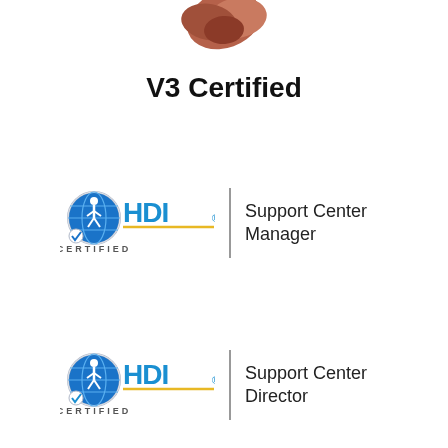[Figure (logo): Partial reddish-brown leaf/wing logo at top center]
V3 Certified
[Figure (logo): HDI Certified logo with globe icon and text 'Support Center Manager']
[Figure (logo): HDI Certified logo with globe icon and text 'Support Center Director']